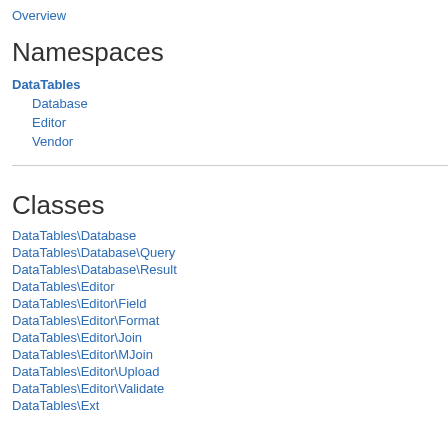Overview
Namespaces
DataTables
Database
Editor
Vendor
Classes
DataTables\Database
DataTables\Database\Query
DataTables\Database\Result
DataTables\Editor
DataTables\Editor\Field
DataTables\Editor\Format
DataTables\Editor\Join
DataTables\Editor\MJoin
DataTables\Editor\Upload
DataTables\Editor\Validate
DataTables\Ext
[Figure (screenshot): PHP source code viewer showing lines 295-318 with syntax highlighting. Lines include static function definition, $cfg variable assignment with 'mess' and 'requ' string keys, ) ); closing, $common assignment, return $c statement, $comm and true; values, closing brace, and a docblock comment starting with /** * Optional f * * * This is a * * ``` * Validate:: * "empty" * ); * and continuing.]